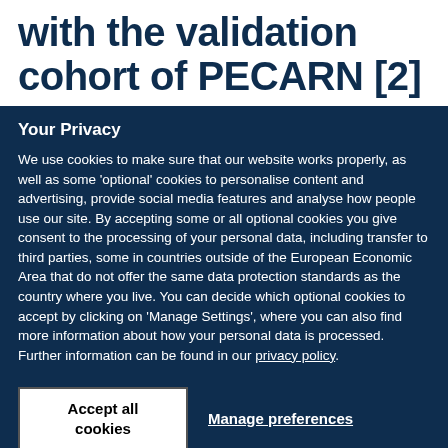with the validation cohort of PECARN [2]
Your Privacy
We use cookies to make sure that our website works properly, as well as some 'optional' cookies to personalise content and advertising, provide social media features and analyse how people use our site. By accepting some or all optional cookies you give consent to the processing of your personal data, including transfer to third parties, some in countries outside of the European Economic Area that do not offer the same data protection standards as the country where you live. You can decide which optional cookies to accept by clicking on 'Manage Settings', where you can also find more information about how your personal data is processed. Further information can be found in our privacy policy.
Accept all cookies
Manage preferences